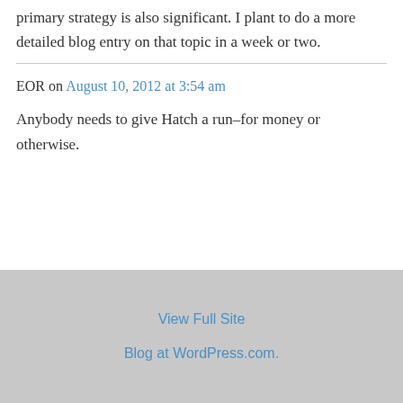primary strategy is also significant. I plant to do a more detailed blog entry on that topic in a week or two.
EOR on August 10, 2012 at 3:54 am
Anybody needs to give Hatch a run–for money or otherwise.
View Full Site
Blog at WordPress.com.